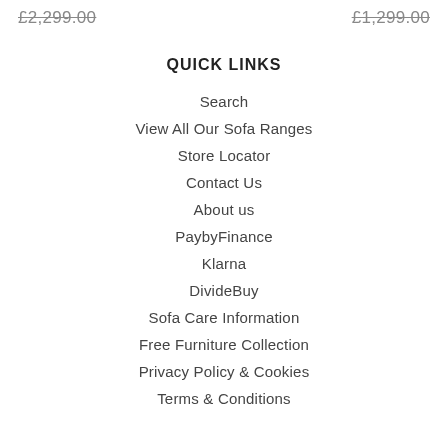£2,299.00   £1,299.00
QUICK LINKS
Search
View All Our Sofa Ranges
Store Locator
Contact Us
About us
PaybyFinance
Klarna
DivideBuy
Sofa Care Information
Free Furniture Collection
Privacy Policy & Cookies
Terms & Conditions